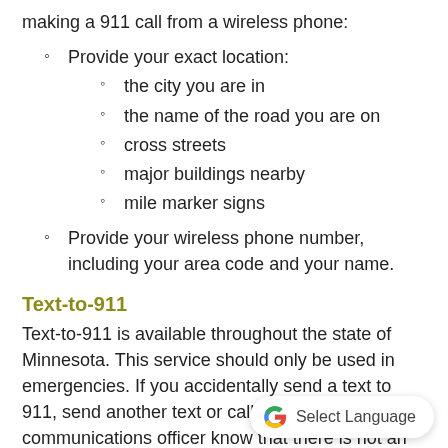making a 911 call from a wireless phone:
Provide your exact location:
the city you are in
the name of the road you are on
cross streets
major buildings nearby
mile marker signs
Provide your wireless phone number, including your area code and your name.
Text-to-911
Text-to-911 is available throughout the state of Minnesota. This service should only be used in emergencies. If you accidentally send a text to 911, send another text or call 911 to let the communications officer know that there is not an emergency. Text-to-911 should only be used in situations where you are unable to call